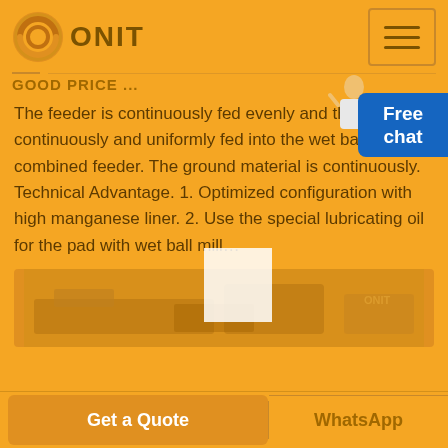[Figure (logo): ONIT logo with circular orange ring icon and bold dark text 'ONIT']
GOOD PRICE ...
The feeder is continuously fed evenly and the ore is continuously and uniformly fed into the wet ball mill via combined feeder. The ground material is continuously. Technical Advantage. 1. Optimized configuration with high manganese liner. 2. Use the special lubricating oil for the pad with wet ball mill…
[Figure (photo): Industrial machinery / equipment photo with orange tint overlay]
Get a Quote
WhatsApp